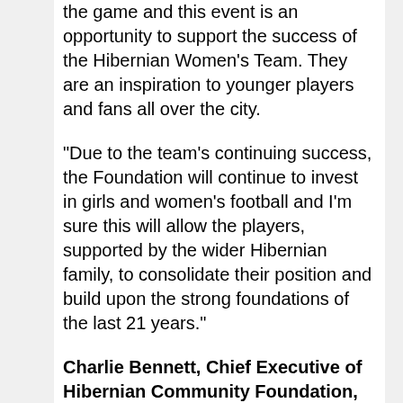the game and this event is an opportunity to support the success of the Hibernian Women's Team. They are an inspiration to younger players and fans all over the city.
"Due to the team's continuing success, the Foundation will continue to invest in girls and women's football and I'm sure this will allow the players, supported by the wider Hibernian family, to consolidate their position and build upon the strong foundations of the last 21 years."
Charlie Bennett, Chief Executive of Hibernian Community Foundation, said: "We are honoured and delighted that the Lord Provost of the City of Edinburgh is recognising the achievements of the Hibernian Women's Team in this way, particularly as this is our 21st year.
"Our list of achievements over this period has been fantastic and our record in cup competitions, which includes three consecutive Scottish Cup and four